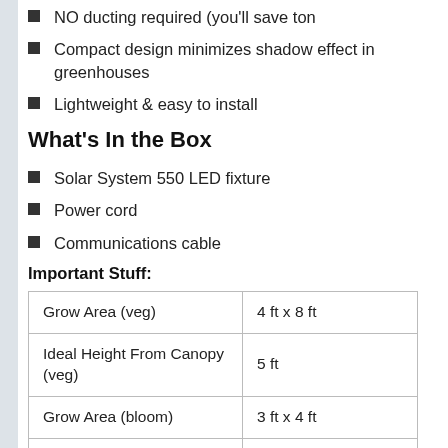NO ducting required (you'll save ton
Compact design minimizes shadow effect in greenhouses
Lightweight & easy to install
What's In the Box
Solar System 550 LED fixture
Power cord
Communications cable
Important Stuff:
| Grow Area (veg) | 4 ft x 8 ft |
| Ideal Height From Canopy (veg) | 5 ft |
| Grow Area (bloom) | 3 ft x 4 ft |
| Ideal Height From Canopy (bloom) | 16 in - 24 in |